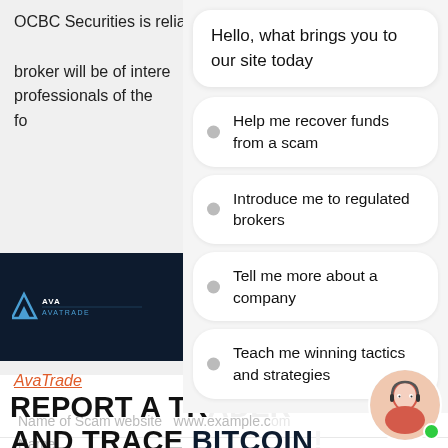OCBC Securities is reliable and safe brokerage. This broker will be of interest professionals of the fo
[Figure (screenshot): Chat widget showing greeting message: Hello, what brings you to our site today]
[Figure (logo): AvaTrade dark navy banner with AVA logo and AVATRADE text]
AvaTrade
Help me recover funds from a scam
Introduce me to regulated brokers
Tell me more about a company
Teach me winning tactics and strategies
REPORT A TR AND TRACE BITCOIN
Name of Scam website www.example.c
Name